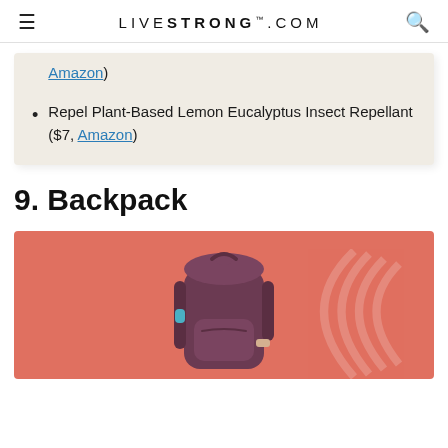LIVESTRONG.COM
Amazon)
Repel Plant-Based Lemon Eucalyptus Insect Repellant ($7, Amazon)
9. Backpack
[Figure (photo): A dark maroon/purple hiking backpack with teal accents photographed against a coral/salmon pink background with a subtle circular design element.]